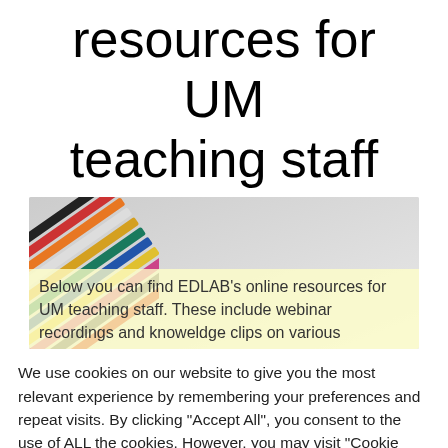resources for UM teaching staff
[Figure (photo): Colored pencils arranged diagonally on a light gray background, with overlay text beginning: 'Below you can find EDLAB's online resources for UM teaching staff. These include webinar recordings and knowledge clips on various']
We use cookies on our website to give you the most relevant experience by remembering your preferences and repeat visits. By clicking "Accept All", you consent to the use of ALL the cookies. However, you may visit "Cookie Settings" to provide a controlled consent.
Cookie Settings | Accept All